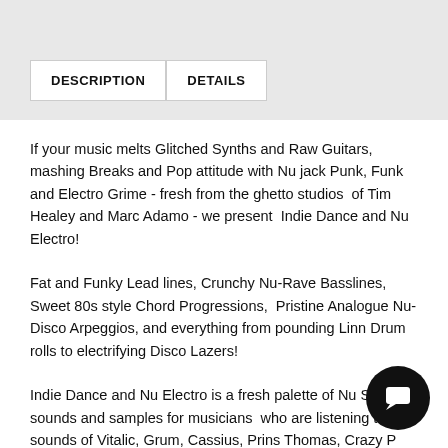DESCRIPTION
DETAILS
If your music melts Glitched Synths and Raw Guitars, mashing Breaks and Pop attitude with Nu jack Punk, Funk and Electro Grime - fresh from the ghetto studios  of Tim Healey and Marc Adamo - we present  Indie Dance and Nu Electro!
Fat and Funky Lead lines, Crunchy Nu-Rave Basslines, Sweet 80s style Chord Progressions,  Pristine Analogue Nu-Disco Arpeggios, and everything from pounding Linn Drum rolls to electrifying Disco Lazers!
Indie Dance and Nu Electro is a fresh palette of Nu Skool sounds and samples for musicians  who are listening to the sounds of Vitalic, Grum, Cassius, Prins Thomas, Crazy P and Fred Falke labels including Boys Noize, Ed Banger, Turbo, Gomma, DFA and Kitsune.